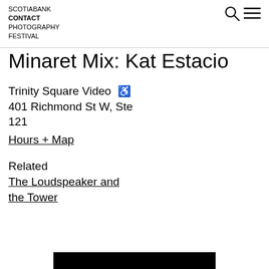SCOTIABANK CONTACT PHOTOGRAPHY FESTIVAL
Minaret Mix: Kat Estacio
Trinity Square Video ♿
401 Richmond St W, Ste 121
Hours + Map
Related
The Loudspeaker and the Tower
[Figure (photo): Black rectangle at bottom of page, partially visible, representing an image thumbnail.]